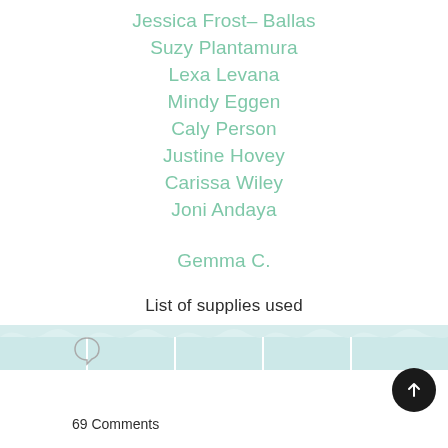Jessica Frost– Ballas
Suzy Plantamura
Lexa Levana
Mindy Eggen
Caly Person
Justine Hovey
Carissa Wiley
Joni Andaya
Gemma C.
List of supplies used
[Figure (other): Row of product supply images with wavy top borders in light teal/blue]
69 Comments